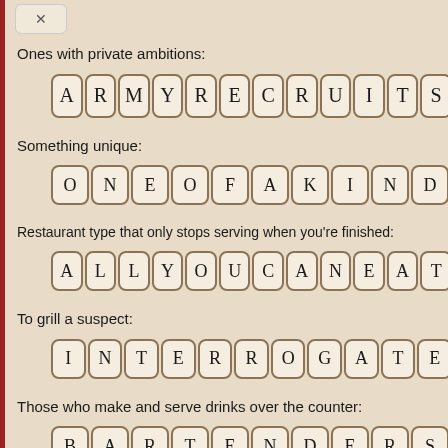Ones with private ambitions:
[Figure (other): Letter tiles spelling ARMYRECRUITS]
Something unique:
[Figure (other): Letter tiles spelling ONEOFAKIND]
Restaurant type that only stops serving when you're finished:
[Figure (other): Letter tiles spelling ALLYOUCANEAT]
To grill a suspect:
[Figure (other): Letter tiles spelling INTERROGATE]
Those who make and serve drinks over the counter:
[Figure (other): Letter tiles spelling BARTENDERS]
Greetings that involve clasping palms: